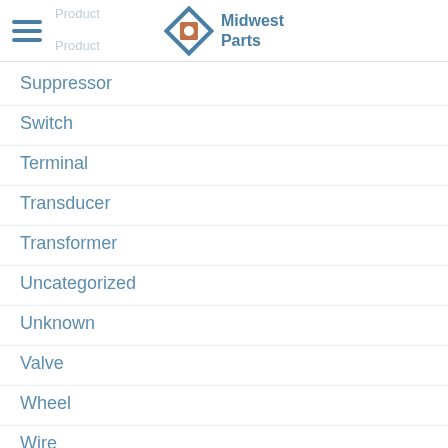Midwest Parts — navigation header with logo
Suppressor
Switch
Terminal
Transducer
Transformer
Uncategorized
Unknown
Valve
Wheel
Wire
Wiring
York Applied Parts